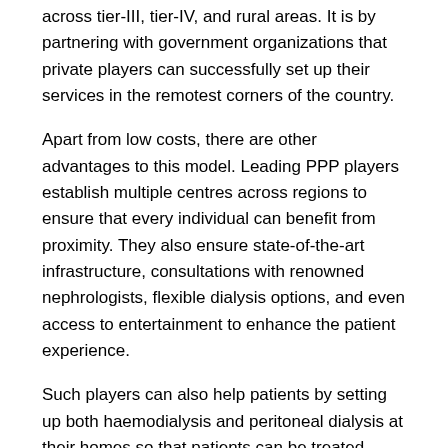across tier-III, tier-IV, and rural areas. It is by partnering with government organizations that private players can successfully set up their services in the remotest corners of the country.
Apart from low costs, there are other advantages to this model. Leading PPP players establish multiple centres across regions to ensure that every individual can benefit from proximity. They also ensure state-of-the-art infrastructure, consultations with renowned nephrologists, flexible dialysis options, and even access to entertainment to enhance the patient experience.
Such players can also help patients by setting up both haemodialysis and peritoneal dialysis at their homes so that patients can be treated where they are most comfortable. With home dialysis, they can get the right treatment while maintaining their lifestyle. Finally, the expert doctors that are